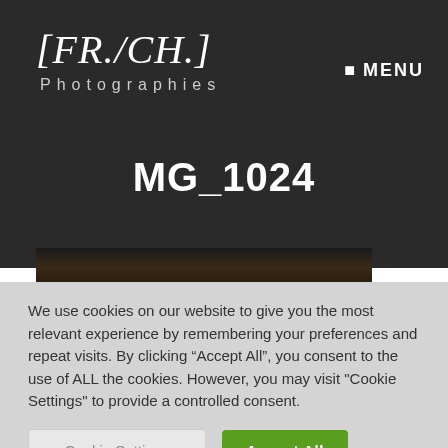[FR./CH.] Photographies
MENU
MG_1024
[Figure (photo): Dark photograph strip showing a curved surface, partial view at top of content area]
We use cookies on our website to give you the most relevant experience by remembering your preferences and repeat visits. By clicking “Accept All”, you consent to the use of ALL the cookies. However, you may visit "Cookie Settings" to provide a controlled consent.
Cookie Settings  Accept All